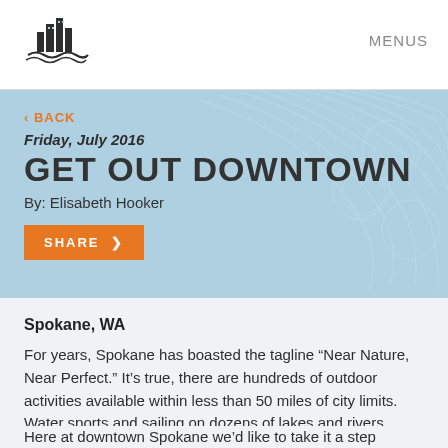[Figure (logo): City skyline logo with buildings and water wave beneath]
MENUS
< BACK
Friday, July 2016
GET OUT DOWNTOWN
By: Elisabeth Hooker
SHARE >
Spokane, WA
For years, Spokane has boasted the tagline “Near Nature, Near Perfect.” It’s true, there are hundreds of outdoor activities available within less than 50 miles of city limits. Water sports and sailing on dozens of lakes and rivers, premier skiing, hiking, and camping. It’s an outdoor paradise.
Here at downtown Spokane we’d like to take it a step further,